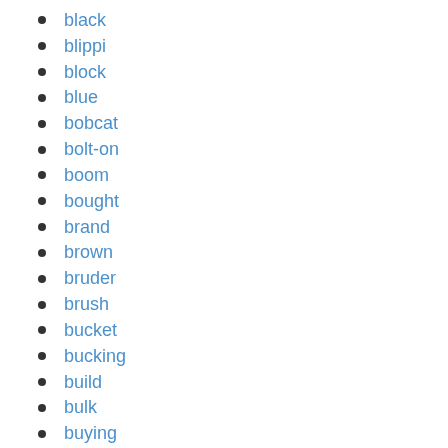black
blippi
block
blue
bobcat
bolt-on
boom
bought
brand
brown
bruder
brush
bucket
bucking
build
bulk
buying
cans
case
cast
category
caterpillar